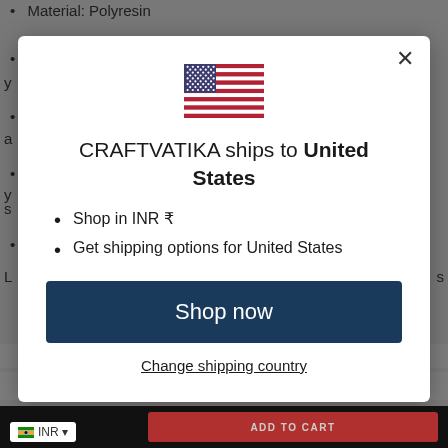Material: Polyresin
[Figure (screenshot): Modal dialog showing CRAFTVATIKA ships to United States with US flag, shop in INR, get shipping options, Shop now button, and Change shipping country link]
CRAFTVATIKA ships to United States
Shop in INR ₹
Get shipping options for United States
Shop now
Change shipping country